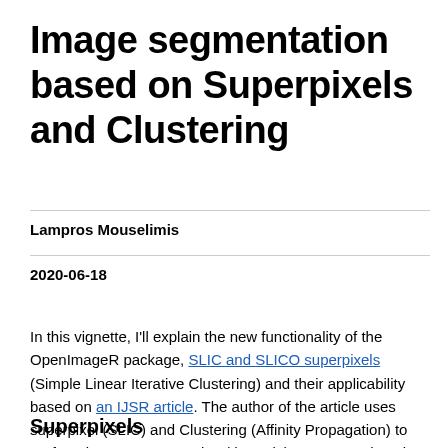Image segmentation based on Superpixels and Clustering
Lampros Mouselimis
2020-06-18
In this vignette, I'll explain the new functionality of the OpenImageR package, SLIC and SLICO superpixels (Simple Linear Iterative Clustering) and their applicability based on an IJSR article. The author of the article uses superpixel (SLIC) and Clustering (Affinity Propagation) to perform image segmentation (the article was reproduced using the latest versions of the OpenImageR and ClusterR packages).
Superpixels